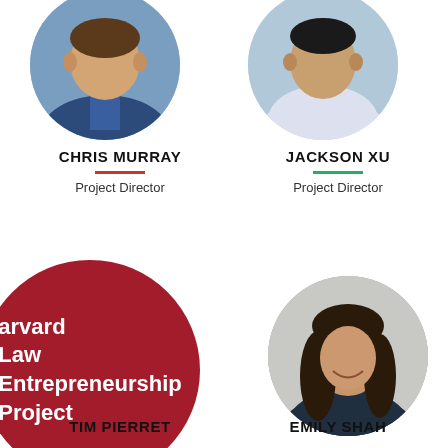[Figure (photo): Circular profile photo of Chris Murray, partially cropped at top, showing man in suit]
[Figure (photo): Circular profile photo of Jackson Xu, partially cropped at top, showing man in casual shirt]
CHRIS MURRAY
Project Director
JACKSON XU
Project Director
[Figure (logo): Harvard Law Entrepreneurship Project logo — dark red circle with white bold text reading 'Harvard Law Entrepreneurship Project']
[Figure (photo): Circular profile photo of Emily Shah, woman with long dark hair smiling, grey background]
TIM PIERRET
EMILY SHAH